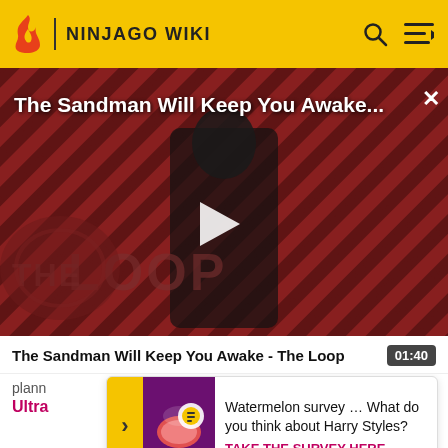NINJAGO WIKI
[Figure (screenshot): Video thumbnail for 'The Sandman Will Keep You Awake - The Loop' showing a figure in dark clothing against a red and black diagonal striped background with 'THE LOOP' text overlay and a play button in the center.]
The Sandman Will Keep You Awake - The Loop  01:40
plann
Ultra
[Figure (screenshot): Survey popup with a purple image showing a watermelon graphic. Text: 'Watermelon survey … What do you think about Harry Styles? TAKE THE SURVEY HERE']